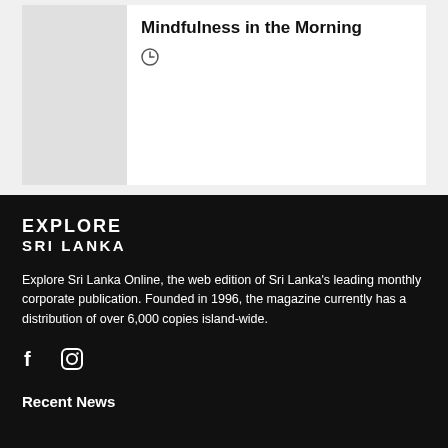Mindfulness in the Morning
[Figure (other): Clock/time icon]
[Figure (logo): Explore Sri Lanka logo text in white on black background]
Explore Sri Lanka Online, the web edition of Sri Lanka's leading monthly corporate publication. Founded in 1996, the magazine currently has a distribution of over 6,000 copies island-wide.
[Figure (other): Social media icons: Facebook and Instagram]
Recent News